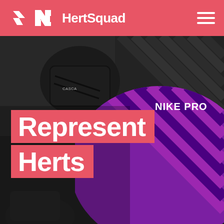HertSquad
[Figure (photo): Close-up photograph of sports equipment including a helmet and a purple and black striped Nike Pro jersey/pad, rendered in partially desaturated colors with the purple remaining vibrant against a grayscale background.]
Represent Herts